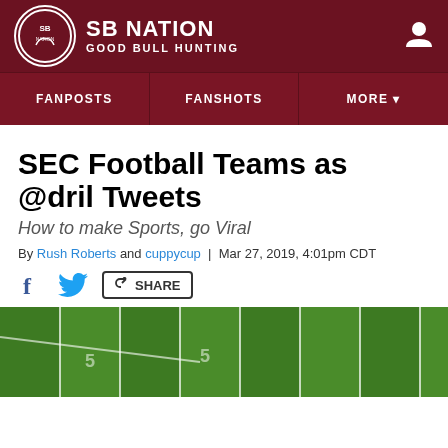SB NATION / GOOD BULL HUNTING
SEC Football Teams as @dril Tweets
How to make Sports, go Viral
By Rush Roberts and cuppycup | Mar 27, 2019, 4:01pm CDT
[Figure (screenshot): Social share bar with Facebook, Twitter, and Share icons/buttons]
[Figure (photo): Football field with yard lines visible from above, green grass with white field markings]